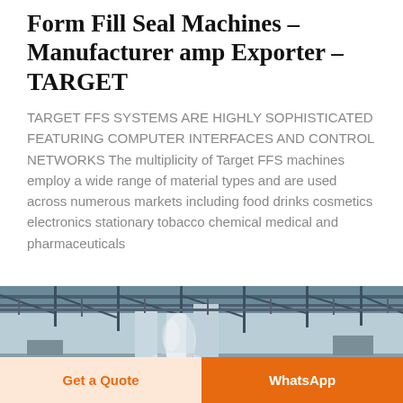Form Fill Seal Machines – Manufacturer amp Exporter – TARGET
TARGET FFS SYSTEMS ARE HIGHLY SOPHISTICATED FEATURING COMPUTER INTERFACES AND CONTROL NETWORKS The multiplicity of Target FFS machines employ a wide range of material types and are used across numerous markets including food drinks cosmetics electronics stationary tobacco chemical medical and pharmaceuticals
[Figure (photo): Interior of a large industrial factory or warehouse with steel structural framework, roof trusses, and bright lighting, showing manufacturing facility]